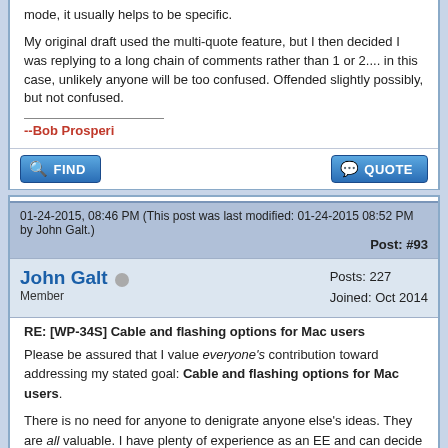mode, it usually helps to be specific.
My original draft used the multi-quote feature, but I then decided I was replying to a long chain of comments rather than 1 or 2.... in this case, unlikely anyone will be too confused. Offended slightly possibly, but not confused.
--Bob Prosperi
01-24-2015, 08:46 PM (This post was last modified: 01-24-2015 08:52 PM by John Galt.)
Post: #93
John Galt  Member  Posts: 227  Joined: Oct 2014
RE: [WP-34S] Cable and flashing options for Mac users
Please be assured that I value everyone's contribution toward addressing my stated goal: Cable and flashing options for Mac users.
There is no need for anyone to denigrate anyone else's ideas. They are all valuable. I have plenty of experience as an EE and can decide the merits of each one on my own.